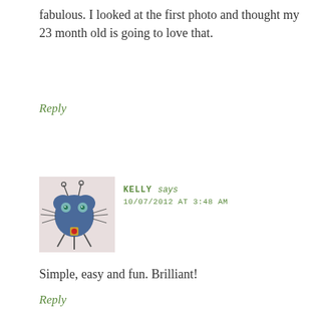fabulous. I looked at the first photo and thought my 23 month old is going to love that.
Reply
[Figure (illustration): Avatar illustration of a cartoon blue creature/bug with antennae, eyes, whiskers, and legs on a light pink/beige background]
KELLY says
10/07/2012 AT 3:48 AM
Simple, easy and fun. Brilliant!
Reply